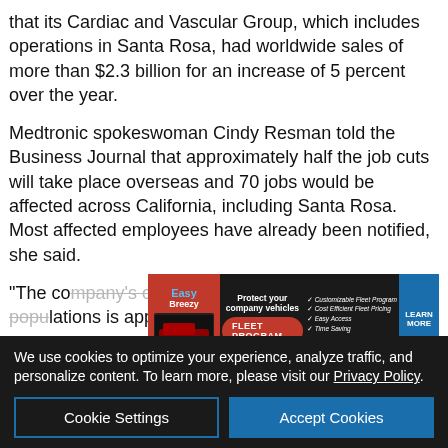that its Cardiac and Vascular Group, which includes operations in Santa Rosa, had worldwide sales of more than $2.3 billion for an increase of 5 percent over the year.
Medtronic spokeswoman Cindy Resman told the Business Journal that approximately half the job cuts will take place overseas and 70 jobs would be affected across California, including Santa Rosa. Most affected employees have already been notified, she said.
"The company's current worldwide employee populations is appr... n the start of...
[Figure (infographic): Easy Breezy Car Wash advertisement banner: Fleet Program - Protect your company vehicles. Features customizable fleet program, cost efficient fleet pricing, easy access, time saving, satisfaction guaranteed. Learn More button.]
We use cookies to optimize your experience, analyze traffic, and personalize content. To learn more, please visit our Privacy Policy.